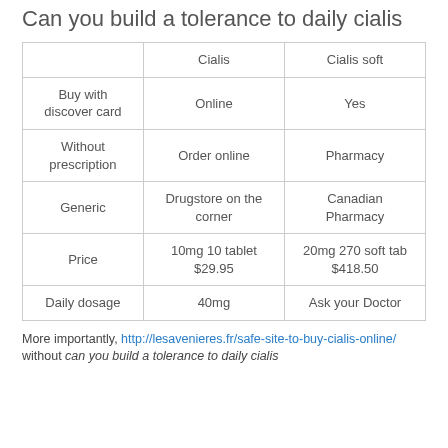Can you build a tolerance to daily cialis
|  | Cialis | Cialis soft |
| --- | --- | --- |
| Buy with discover card | Online | Yes |
| Without prescription | Order online | Pharmacy |
| Generic | Drugstore on the corner | Canadian Pharmacy |
| Price | 10mg 10 tablet $29.95 | 20mg 270 soft tab $418.50 |
| Daily dosage | 40mg | Ask your Doctor |
More importantly, http://lesavenieres.fr/safe-site-to-buy-cialis-online/ without can you build a tolerance to daily cialis